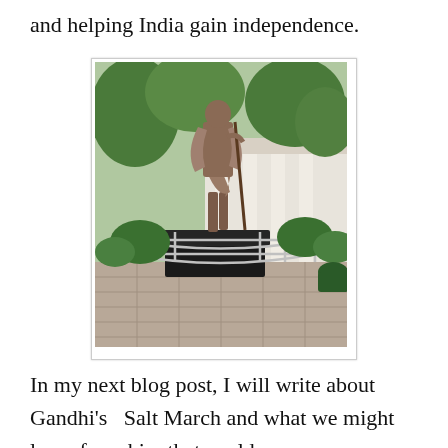and helping India gain independence.
[Figure (photo): Bronze statue of Mahatma Gandhi standing on a pedestal with metal railings around it, surrounded by green shrubs and trees, with a white columned building in the background.]
In my next blog post, I will write about Gandhi's  Salt March and what we might learn from him that could